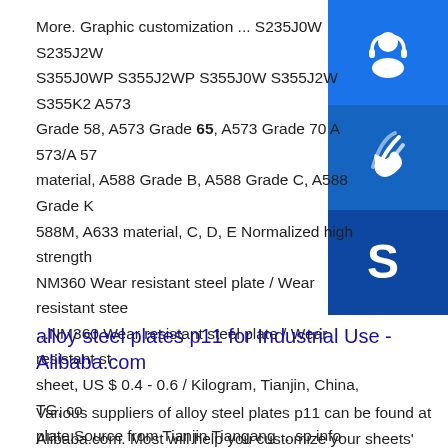More. Graphic customization ... S235J0W S235J2W S355J0WP S355J2WP S355J0W S355J2W S355K2 A573 Grade 58, A573 Grade 65, A573 Grade 70 A 573/A 57 material, A588 Grade B, A588 Grade C, A588 Grade K 588M, A633 material, C, D, E Normalized high strength NM360 Wear resistant steel plate / Wear resistant stee ...NM360 Wear resistant steel plate / Wear resistant st sheet, US $ 0.4 - 0.6 / Kilogram, Tianjin, China, TG, co plate.Source from Tianjin Tiangang …sp.info Leather j SHIN KUE WAH ENTERPRISES- Sell offer at ...SHIN KUE WAH ENTERPRISES Sell Offers . Leather jacket - Sell offer
[Figure (infographic): Three blue square icons stacked vertically on the right side: a customer service headset icon, a telephone/contact icon, and a Skype icon]
alloy steel plates p11 for Industrial Use - Alibaba.com
Various suppliers of alloy steel plates p11 can be found at Alibaba.com. Most will help you customize your sheets' length